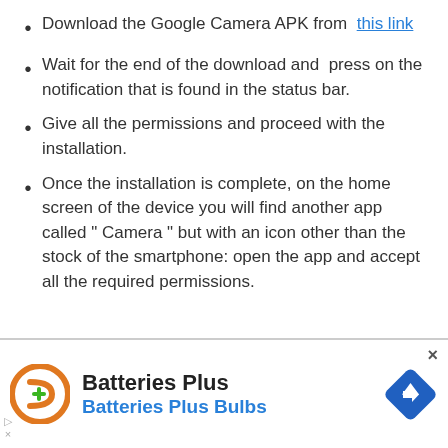Download the Google Camera APK from this link
Wait for the end of the download and press on the notification that is found in the status bar.
Give all the permissions and proceed with the installation.
Once the installation is complete, on the home screen of the device you will find another app called " Camera " but with an icon other than the stock of the smartphone: open the app and accept all the required permissions.
[Figure (other): Advertisement banner for Batteries Plus Bulbs with orange logo, brand name in bold black, subtitle in blue, and a blue diamond navigation icon on the right.]